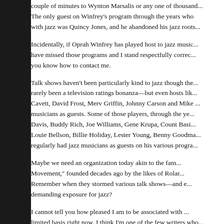couple of minutes to Wynton Marsalis or any one of thousand... The only guest on Winfrey's program through the years who was associated with jazz was Quincy Jones, and he abandoned his jazz roots...
Incidentally, if Oprah Winfrey has played host to jazz musicians, I may have missed those programs and I stand respectfully corrected. If so, you know how to contact me.
Talk shows haven't been particularly kind to jazz though the music has rarely been a television ratings bonanza—but even hosts like Dick Cavett, David Frost, Merv Griffin, Johnny Carson and Mike ... musicians as guests. Some of those players, through the years: Miles Davis, Buddy Rich, Joe Williams, Gene Krupa, Count Basie... Louie Bellson, Billie Holiday, Lester Young, Benny Goodman... regularly had jazz musicians as guests on his various programs.
Maybe we need an organization today akin to the famous "... Movement," founded decades ago by the likes of Roland... Remember when they stormed various talk shows—and elsewhere— demanding exposure for jazz?
I cannot tell you how pleased I am to be associated with ... on a limited basis right now. I think I'm one of the few writers who... its inception, in my case, from their second issue. Look f... summer on drumming legends Rufus Jones and Nick Fatol...